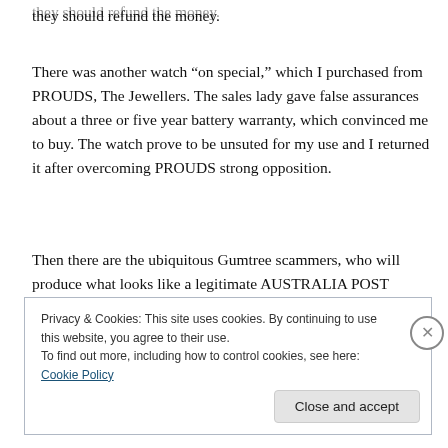they should refund the money.
There was another watch “on special,” which I purchased from PROUDS, The Jewellers. The sales lady gave false assurances about a three or five year battery warranty, which convinced me to buy. The watch prove to be unsuted for my use and I returned it after overcoming PROUDS strong opposition.
Then there are the ubiquitous Gumtree scammers, who will produce what looks like a legitimate AUSTRALIA POST
Privacy & Cookies: This site uses cookies. By continuing to use this website, you agree to their use.
To find out more, including how to control cookies, see here: Cookie Policy
Close and accept